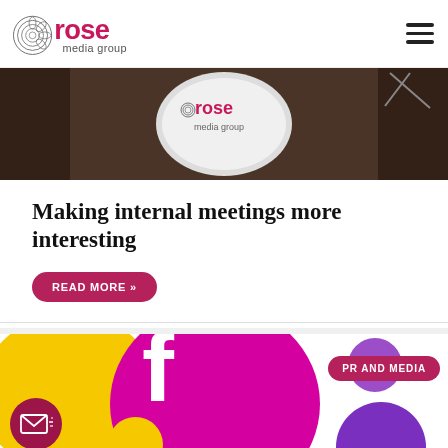rose media group
[Figure (photo): Photo of a desk/table scene with a Rose Media Group branded item visible]
Making internal meetings more interesting
READ MORE »
[Figure (illustration): Colorful social media themed graphic with large Facebook 'f' logo, yellow, magenta and purple bubbles, a PR AND MEDIA badge, and an email icon circle]